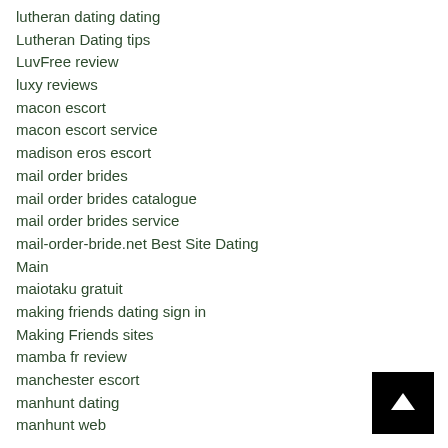lutheran dating dating
Lutheran Dating tips
LuvFree review
luxy reviews
macon escort
macon escort service
madison eros escort
mail order brides
mail order brides catalogue
mail order brides service
mail-order-bride.net Best Site Dating
Main
maiotaku gratuit
making friends dating sign in
Making Friends sites
mamba fr review
manchester escort
manhunt dating
manhunt web
[Figure (other): Black square button with white upward arrow (scroll to top button)]